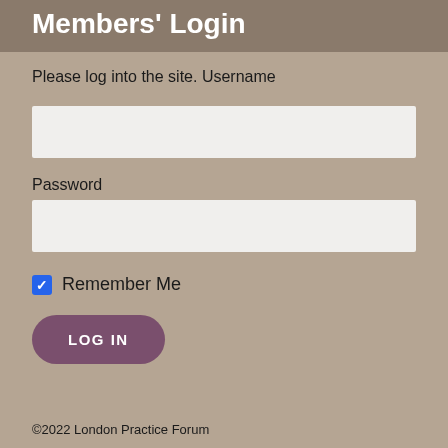Members' Login
Please log into the site.
Username
Password
Remember Me
LOG IN
©2022 London Practice Forum